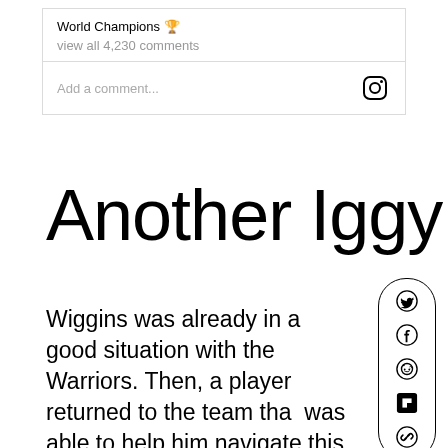World Champions 🏆
view all 4,230 comments
Add a comment...
Another Iggy
Wiggins was already in a good situation with the Warriors. Then, a player returned to the team that was able to help him navigate this next act of his career. Andre Iguodala is praised for his intangibles and it's the reason why he reunited with Golden State this season. While in the rotation, he brings defense, playmaking, and good decision-making —fillin...